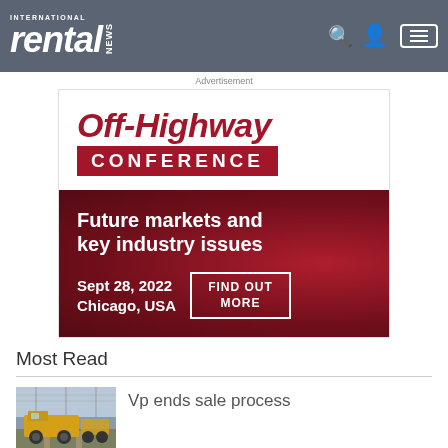International Rental News
Advertisement
[Figure (infographic): Off-Highway Conference advertisement banner. Large red italic text 'Off-Highway' above dark red bar with white text 'CONFERENCE'. Below on dark red background: 'Future markets and key industry issues', 'Sept 28, 2022, Chicago, USA', and 'FIND OUT MORE' button.]
Most Read
[Figure (photo): Thumbnail photo of yellow railway maintenance vehicles/machinery on a rail track.]
Vp ends sale process